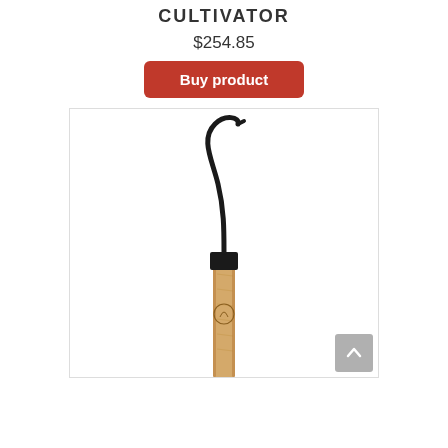CULTIVATOR
$254.85
Buy product
[Figure (photo): A garden cultivator tool with a curved black metal hook attached to a wooden handle with a black collar/ferrule, shown vertically against a white background.]